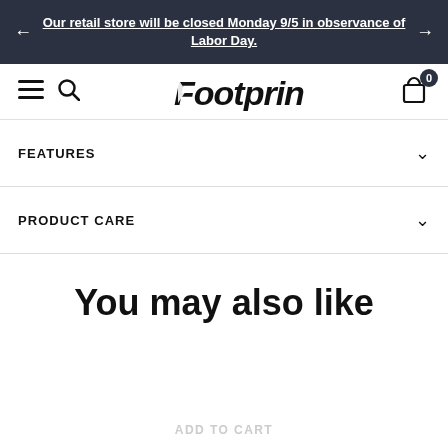Our retail store will be closed Monday 9/5 in observance of Labor Day.
[Figure (screenshot): Footprints store navigation bar with hamburger menu, search icon, Footprints logo, and cart icon with badge showing 0]
FEATURES
PRODUCT CARE
You may also like
ADD TO CART